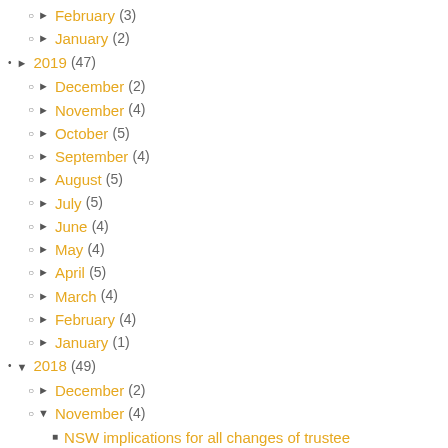February (3)
January (2)
2019 (47)
December (2)
November (4)
October (5)
September (4)
August (5)
July (5)
June (4)
May (4)
April (5)
March (4)
February (4)
January (1)
2018 (49)
December (2)
November (4)
NSW implications for all changes of trustee